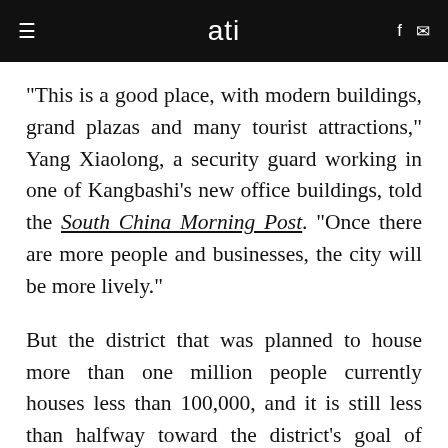ati
"This is a good place, with modern buildings, grand plazas and many tourist attractions," Yang Xiaolong, a security guard working in one of Kangbashi's new office buildings, told the South China Morning Post. "Once there are more people and businesses, the city will be more lively."
But the district that was planned to house more than one million people currently houses less than 100,000, and it is still less than halfway toward the district's goal of housing 300,000 people by 2020. Despite all their efforts, Kangbashi's skyscrapers and